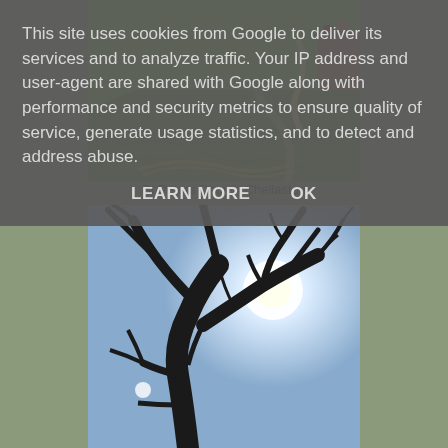[Figure (photo): Photo of grassy churchyard grounds at St Peters Church Chellaston, showing curved grass paths and flowerbeds]
St Peters Church Chellaston
[Figure (photo): Photo looking up at a bare winter tree silhouetted against a bright blue sky with the sun visible through branches]
This site uses cookies from Google to deliver its services and to analyze traffic. Your IP address and user-agent are shared with Google along with performance and security metrics to ensure quality of service, generate usage statistics, and to detect and address abuse.
LEARN MORE    OK